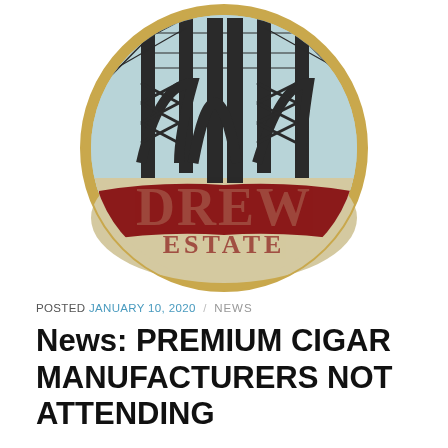[Figure (logo): Drew Estate circular logo featuring an illustrated bridge structure with steel arch and suspension cables in black line art on a light blue and tan background, with the text 'DREW' in large red decorative lettering and 'ESTATE' below it in smaller red decorative lettering, all enclosed in a gold circular border.]
POSTED JANUARY 10, 2020 / NEWS
News: PREMIUM CIGAR MANUFACTURERS NOT ATTENDING